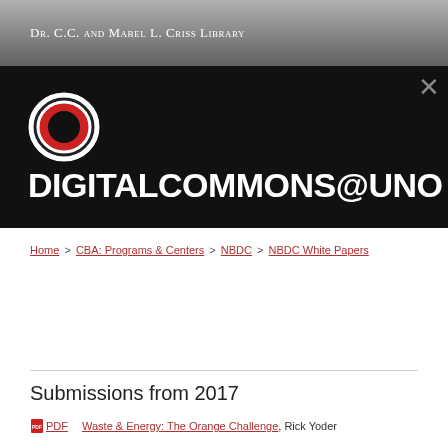Dr. C.C. and Mabel L. Criss Library
[Figure (logo): DigitalCommons@UNO logo with UNO oval O logo mark and bold text DIGITALCOMMONS@UNO on black background]
Home > CBA: Programs & Centers > NBDC > NBDC White Papers
Submissions from 2017
PDF  Waste & Energy: The Orange Challenge, Rick Yoder